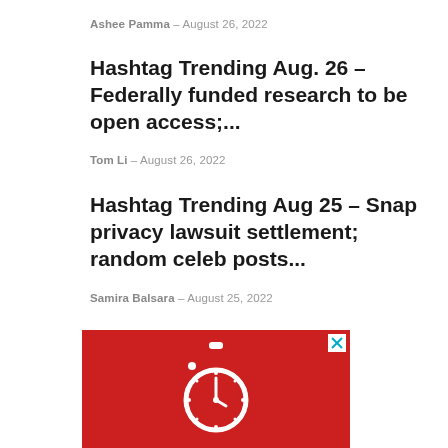Ashee Pamma – August 26, 2022
Hashtag Trending Aug. 26 – Federally funded research to be open access;...
Tom Li – August 26, 2022
Hashtag Trending Aug 25 – Snap privacy lawsuit settlement; random celeb posts...
Samira Balsara – August 25, 2022
[Figure (illustration): Red advertisement banner with a white stopwatch icon in the center and a small X close button in the top-right corner]